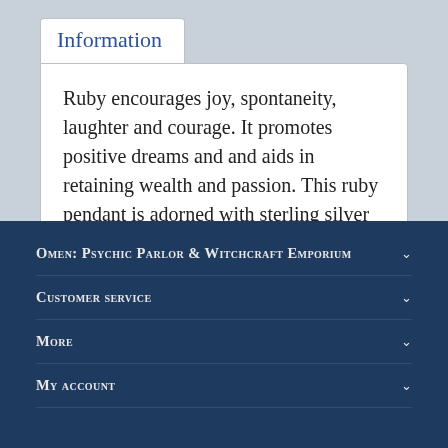Information
Ruby encourages joy, spontaneity, laughter and courage. It promotes positive dreams and and aids in retaining wealth and passion. This ruby pendant is adorned with sterling silver filigree.
Omen: Psychic Parlor & Witchcraft Emporium
Customer service
More
My account